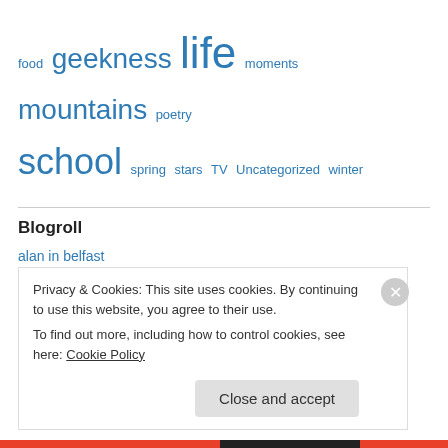food geekness life moments mountains poetry school spring stars TV Uncategorized winter
Blogroll
alan in belfast
andy kirkpatrick
averagejoe
bad science
canalways
Privacy & Cookies: This site uses cookies. By continuing to use this website, you agree to their use. To find out more, including how to control cookies, see here: Cookie Policy
Close and accept